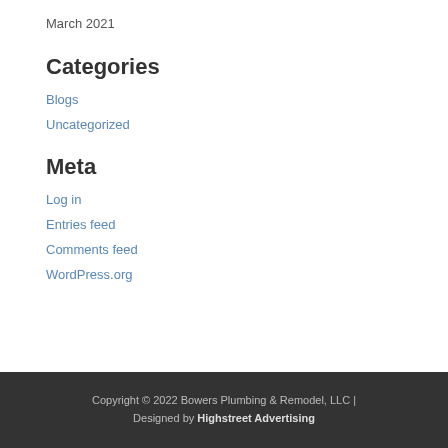March 2021
Categories
Blogs
Uncategorized
Meta
Log in
Entries feed
Comments feed
WordPress.org
Copyright © 2022 Bowers Plumbing & Remodel, LLC | Designed by Highstreet Advertising